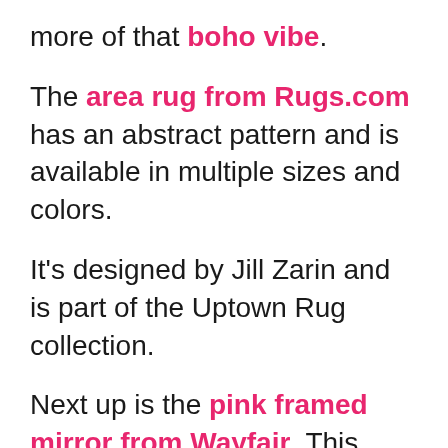more of that boho vibe.
The area rug from Rugs.com has an abstract pattern and is available in multiple sizes and colors.
It's designed by Jill Zarin and is part of the Uptown Rug collection.
Next up is the pink framed mirror from Wayfair. This floor mirror is perfect to add a touch of pink to your design. Not to mention it's great for checking yourself before you leave for a night out on the town.
Every home should have a set of coasters